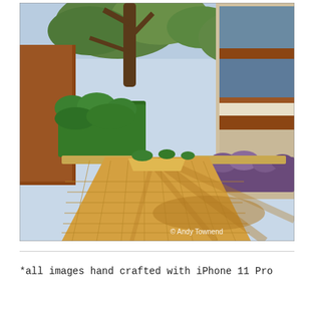[Figure (photo): Outdoor walkway/path paved with yellow-orange square tiles, flanked by green shrubs and hedges on the left and a modern building with glass balconies on the right. Large trees cast shadows across the path. A red/brown wall is visible on the left. Watermark reads '© Andy Townend' in the lower right corner.]
*all images hand crafted with iPhone 11 Pro